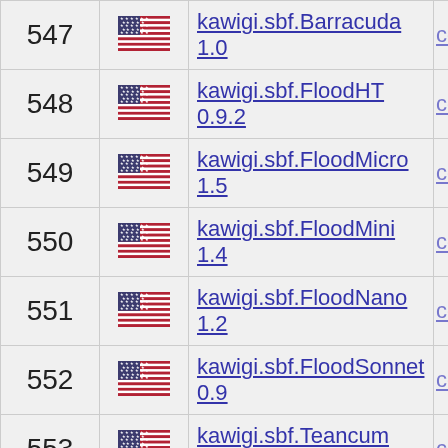| # | Flag | Name | Link |
| --- | --- | --- | --- |
| 547 | US | kawigi.sbf.Barracuda 1.0 | compa… |
| 548 | US | kawigi.sbf.FloodHT 0.9.2 | compa… |
| 549 | US | kawigi.sbf.FloodMicro 1.5 | compa… |
| 550 | US | kawigi.sbf.FloodMini 1.4 | compa… |
| 551 | US | kawigi.sbf.FloodNano 1.2 | compa… |
| 552 | US | kawigi.sbf.FloodSonnet 0.9 | compa… |
| 553 | US | kawigi.sbf.Teancum 1.3 | compa… |
| 554 | US | kawigi.spare.SpareParts 0.7.6nosnd | compa… |